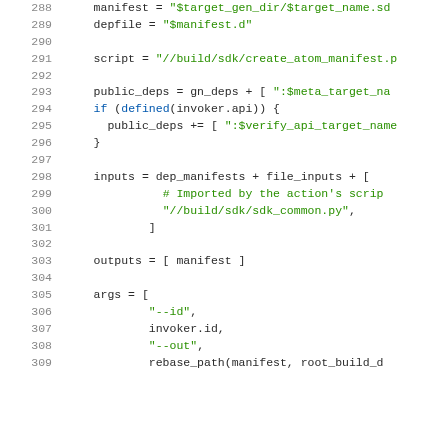[Figure (screenshot): Source code listing showing lines 288-309 of a build script in a monospace font with syntax highlighting. Line numbers in gray on the left, keywords/identifiers in black and blue, string literals in green, comments in green.]